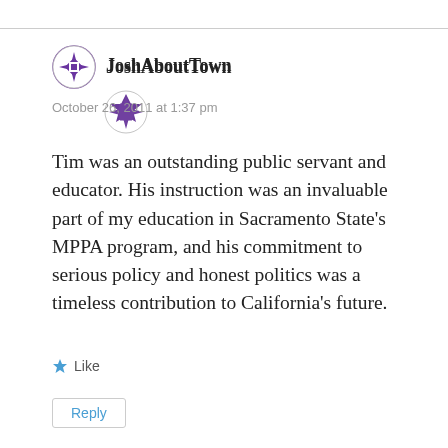JoshAboutTown
October 26, 2011 at 1:37 pm
Tim was an outstanding public servant and educator. His instruction was an invaluable part of my education in Sacramento State’s MPPA program, and his commitment to serious policy and honest politics was a timeless contribution to California’s future.
★ Like
Reply